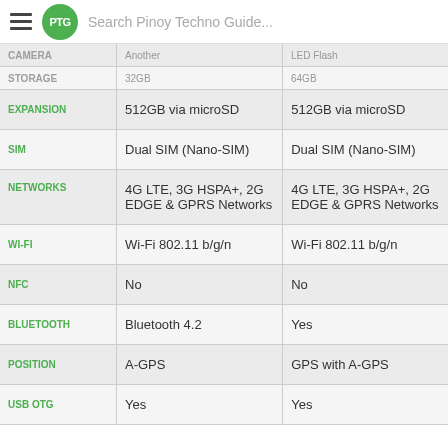Search Pinoy Techno Guide...
|  | Device 1 | Device 2 |
| --- | --- | --- |
| CAMERA | Another | LED Flash |
| STORAGE | 32GB | 64GB |
| EXPANSION | 512GB via microSD | 512GB via microSD |
| SIM | Dual SIM (Nano-SIM) | Dual SIM (Nano-SIM) |
| NETWORKS | 4G LTE, 3G HSPA+, 2G EDGE & GPRS Networks | 4G LTE, 3G HSPA+, 2G EDGE & GPRS Networks |
| WI-FI | Wi-Fi 802.11 b/g/n | Wi-Fi 802.11 b/g/n |
| NFC | No | No |
| BLUETOOTH | Bluetooth 4.2 | Yes |
| POSITION | A-GPS | GPS with A-GPS |
| USB OTG | Yes | Yes |